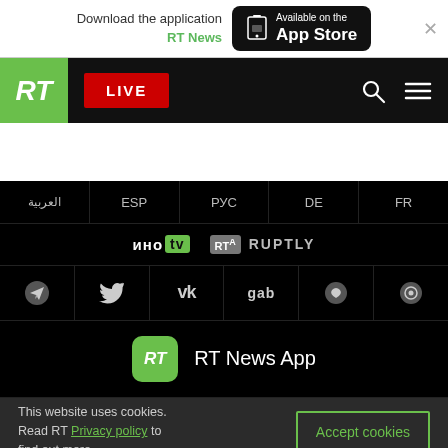[Figure (screenshot): App Store download banner with phone icon, 'Download the application RT News' text and 'Available on the App Store' button, with close X button]
[Figure (screenshot): RT navigation bar with green RT logo, red LIVE button, search and hamburger menu icons]
[Figure (screenshot): RT website footer showing language links (العربية, ESP, РУС, DE, FR), partner logos (иноTV, RFA, RUPTLY), social media icons (Telegram, Twitter, VK, gab, and others), RT News App section, and cookie consent bar]